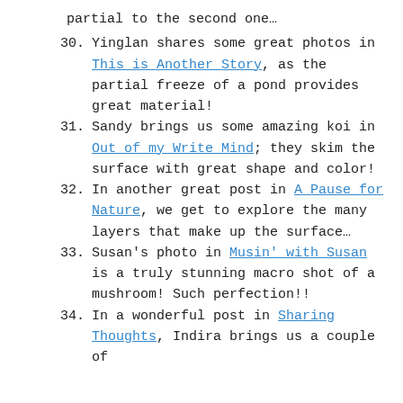partial to the second one…
30. Yinglan shares some great photos in This is Another Story, as the partial freeze of a pond provides great material!
31. Sandy brings us some amazing koi in Out of my Write Mind; they skim the surface with great shape and color!
32. In another great post in A Pause for Nature, we get to explore the many layers that make up the surface…
33. Susan's photo in Musin' with Susan is a truly stunning macro shot of a mushroom! Such perfection!!
34. In a wonderful post in Sharing Thoughts, Indira brings us a couple of